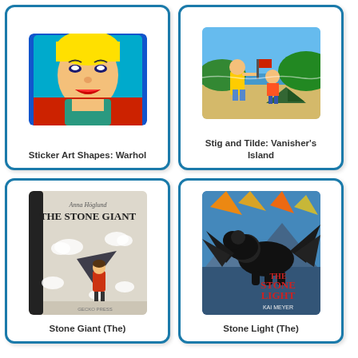[Figure (illustration): Book cover for Sticker Art Shapes: Warhol showing a Warhol-style pop art portrait of Marilyn Monroe]
Sticker Art Shapes: Warhol
[Figure (illustration): Book cover for Stig and Tilde: Vanisher's Island showing cartoon children on a beach with a tent]
Stig and Tilde: Vanisher's Island
[Figure (illustration): Book cover for The Stone Giant showing a child in red coat with dark triangular shape amid clouds, grayscale illustration]
Stone Giant (The)
[Figure (illustration): Book cover for The Stone Light by Kai Meyer showing a black winged lion beast against a dramatic sky]
Stone Light (The)